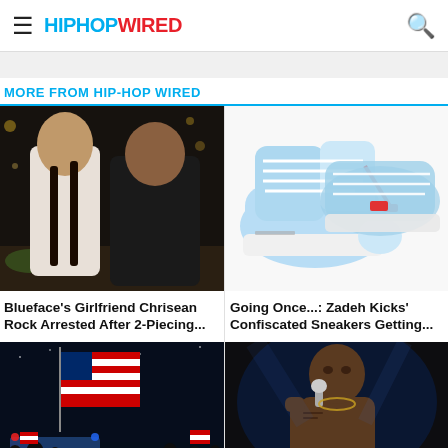HIPHOPWIRED
MORE FROM HIP-HOP WIRED
[Figure (photo): Blueface and girlfriend Chrisean Rock posing together at an event]
Blueface's Girlfriend Chrisean Rock Arrested After 2-Piecing...
[Figure (photo): Blue and white Off-White x Air Jordan 1 sneakers on white background]
Going Once...: Zadeh Kicks' Confiscated Sneakers Getting...
[Figure (photo): Night rally scene with American flags and crowd]
[Figure (photo): Male performer on stage with microphone, shirtless]